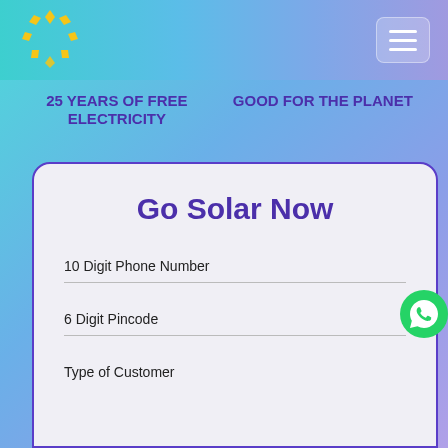[Figure (logo): Circular logo made of yellow diamond shapes arranged in a ring, on a teal-to-purple gradient header background]
[Figure (other): Hamburger menu icon (three horizontal white lines) on a semi-transparent white rounded rectangle button]
25 YEARS OF FREE ELECTRICITY
GOOD FOR THE PLANET
Go Solar Now
10 Digit Phone Number
6 Digit Pincode
Type of Customer
[Figure (other): WhatsApp green circular icon on right side]